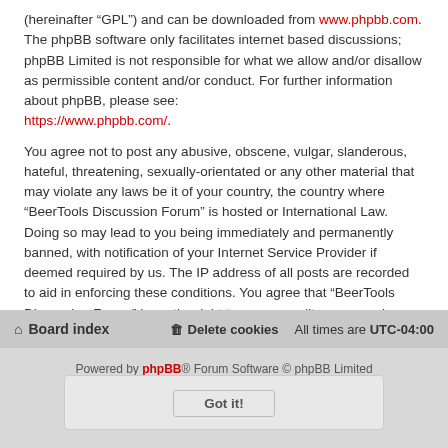(hereinafter “GPL”) and can be downloaded from www.phpbb.com. The phpBB software only facilitates internet based discussions; phpBB Limited is not responsible for what we allow and/or disallow as permissible content and/or conduct. For further information about phpBB, please see: https://www.phpbb.com/.
You agree not to post any abusive, obscene, vulgar, slanderous, hateful, threatening, sexually-orientated or any other material that may violate any laws be it of your country, the country where “BeerTools Discussion Forum” is hosted or International Law. Doing so may lead to you being immediately and permanently banned, with notification of your Internet Service Provider if deemed required by us. The IP address of all posts are recorded to aid in enforcing these conditions. You agree that “BeerTools Discussion Forum” have the right to remove, edit, move or close any topic at any time should we see fit. As a user you agree to any information you have entered to being stored in a database. While this information will not be disclosed to any third party without your consent, neither “BeerTools Discussion Forum” nor phpBB shall be held responsible for any hacking attempt that may lead to the data being compromised.
Board index | Delete cookies | All times are UTC-04:00
Powered by phpBB® Forum Software © phpBB Limited | Privacy | Terms